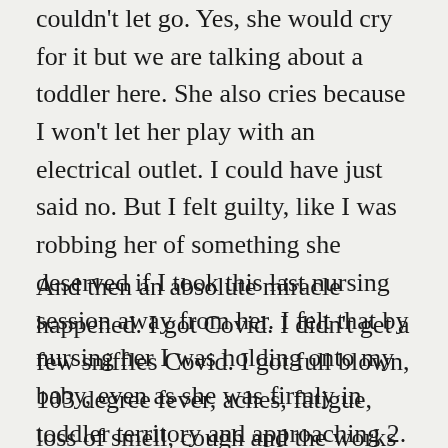couldn't let go. Yes, she would cry for it but we are talking about a toddler here. She also cries because I won't let her play with an electrical outlet. I could have just said no. But I felt guilty, like I was robbing her of something she deserved if I took this last nursing session away from her. I felt that by nursing her I was holding onto my baby, even as she was firmly in toddler territory and approaching 2. But I hated it.
And then an absolute miracle happened. I got Covid. I didn't get a few sniffles Covid. I got full blown, 103 degree fever, aches, fatigue, loss of smell, cough and the works Covid. And honestly it was the best thing that could have happened. Because for a day or two I was